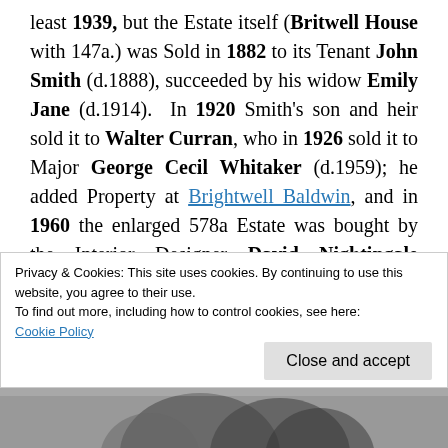least 1939, but the Estate itself (Britwell House with 147a.) was Sold in 1882 to its Tenant John Smith (d.1888), succeeded by his widow Emily Jane (d.1914). In 1920 Smith's son and heir sold it to Walter Curran, who in 1926 sold it to Major George Cecil Whitaker (d.1959); he added Property at Brightwell Baldwin, and in 1960 the enlarged 578a Estate was bought by the Interior Designer David Nightingale Hicks. He sold Britwell House with 150a in 1979, moving to Brightwell Baldwin, and
Privacy & Cookies: This site uses cookies. By continuing to use this website, you agree to their use.
To find out more, including how to control cookies, see here:
Cookie Policy
Close and accept
[Figure (photo): Bottom strip showing a partial black and white photograph]